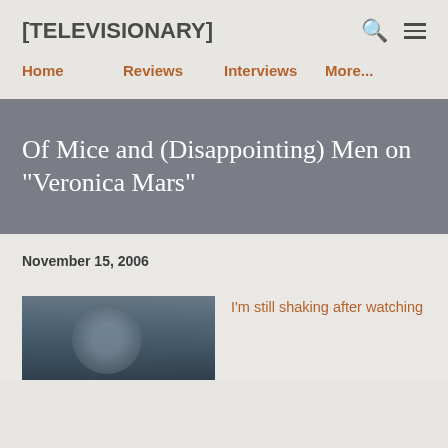[TELEVISIONARY]
Home   Reviews   Interviews   More...
Of Mice and (Disappointing) Men on "Veronica Mars"
November 15, 2006
[Figure (photo): Photo of a person, partially visible, with dark bluish background]
I'm still shaking after watching